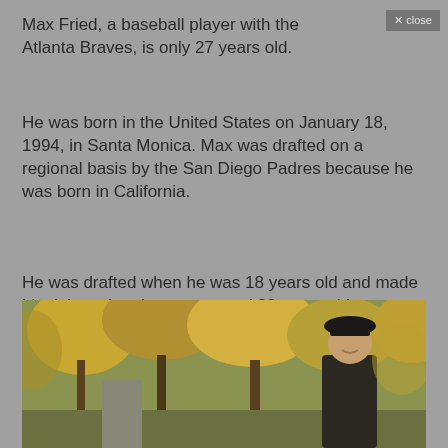Max Fried, a baseball player with the Atlanta Braves, is only 27 years old.
He was born in the United States on January 18, 1994, in Santa Monica. Max was drafted on a regional basis by the San Diego Padres because he was born in California.
He was drafted when he was 18 years old and made his debut when he was around 23 years old.
[Figure (photo): Outdoor autumn scene with yellow-orange trees and a person (presumably Max Fried) standing wearing dark clothing and a dark cap, smiling.]